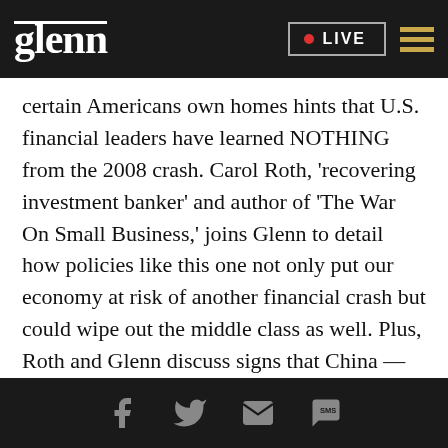glenn • LIVE
certain Americans own homes hints that U.S. financial leaders have learned NOTHING from the 2008 crash. Carol Roth, 'recovering investment banker' and author of 'The War On Small Business,' joins Glenn to detail how policies like this one not only put our economy at risk of another financial crash but could wipe out the middle class as well. Plus, Roth and Glenn discuss signs that China — thanks to its bursting property bubble — is heading towards financial DEPRESSION...
Social icons: Facebook, Twitter, Email, SMS